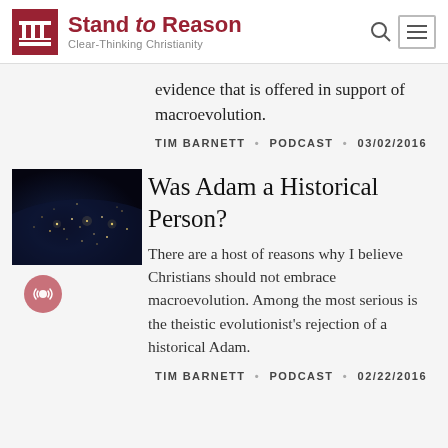[Figure (logo): Stand to Reason logo with red column icon and tagline Clear-Thinking Christianity]
evidence that is offered in support of macroevolution.
TIM BARNETT • PODCAST • 03/02/2016
[Figure (photo): Aerial night satellite photo of Earth showing city lights]
Was Adam a Historical Person?
There are a host of reasons why I believe Christians should not embrace macroevolution. Among the most serious is the theistic evolutionist's rejection of a historical Adam.
TIM BARNETT • PODCAST • 02/22/2016